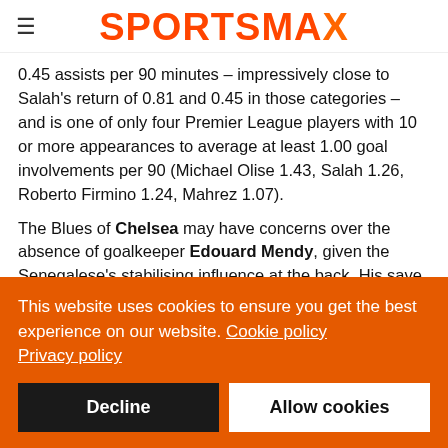SPORTSMAX
0.45 assists per 90 minutes – impressively close to Salah's return of 0.81 and 0.45 in those categories – and is one of only four Premier League players with 10 or more appearances to average at least 1.00 goal involvements per 90 (Michael Olise 1.43, Salah 1.26, Roberto Firmino 1.24, Mahrez 1.07).
The Blues of Chelsea may have concerns over the absence of goalkeeper Edouard Mendy, given the Senegalese's stabilising influence at the back. His save percentage of 77.14 has only been beaten this season in the league by Wolves' Jose Sa
This website uses cookies to ensure you get the best experience on our website. Cookie policy
Privacy policy
Decline   Allow cookies